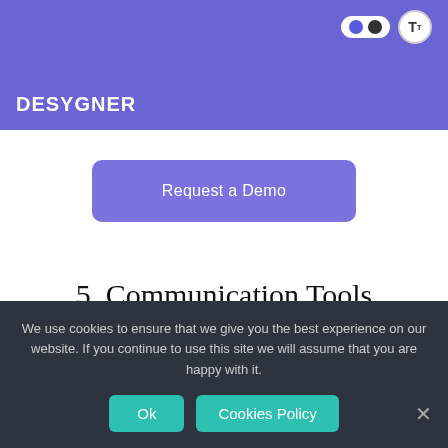[Figure (screenshot): Purple banner with DESYGNER logo on the left, toggle pill UI and typography icon on the right]
[Figure (other): Request a Demo button in purple/violet color with rounded corners]
5. Communication Tools
Content governance isn't just about creating, managing, and publishing content. It's also about maintaining effective
We use cookies to ensure that we give you the best experience on our website. If you continue to use this site we will assume that you are happy with it.